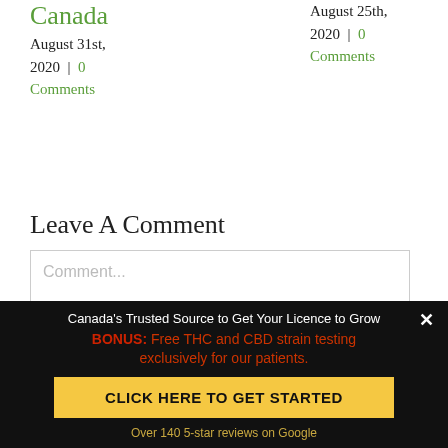Canada
August 31st, 2020 | 0 Comments
August 25th, 2020 | 0 Comments
Leave A Comment
Comment...
Canada's Trusted Source to Get Your Licence to Grow
BONUS: Free THC and CBD strain testing exclusively for our patients.
CLICK HERE TO GET STARTED
Over 140 5-star reviews on Google